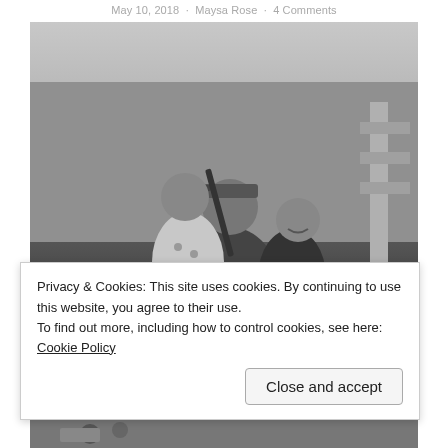May 10, 2018 · Maysa Rose · 4 Comments
[Figure (photo): Black and white photo of a man in a cap holding two girls, one holding a shotgun, outdoors with bare trees in background]
Privacy & Cookies: This site uses cookies. By continuing to use this website, you agree to their use.
To find out more, including how to control cookies, see here: Cookie Policy
Close and accept
[Figure (photo): Partial color photo strip at bottom of page]